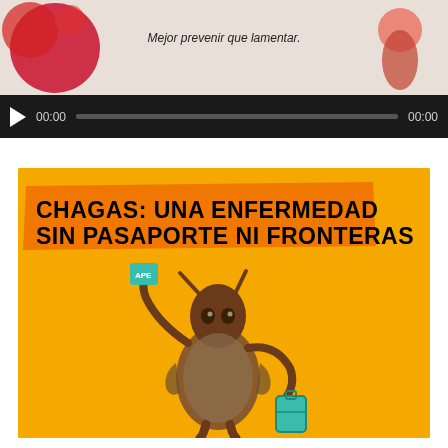[Figure (screenshot): Video player showing a health-related video thumbnail with text 'Mejor prevenir que lamentar.' Controls show play button, 00:00 time on left, progress bar, and 00:00 on right, on dark background.]
[Figure (illustration): Yellow/orange background infographic illustration showing a cartoon triatomine bug (kissing bug) dressed as a traveler, holding a passport and a suitcase, with bold text on orange banner: 'CHAGAS: UNA ENFERMEDAD SIN PASAPORTE NI FRONTERAS']